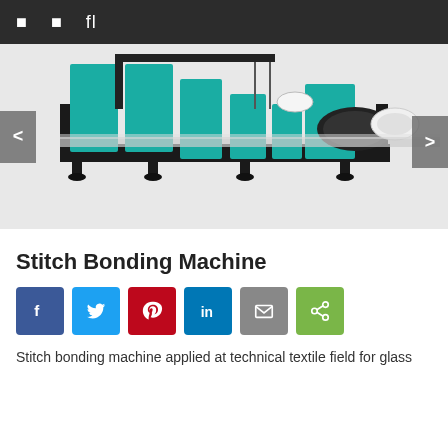navigation bar with icons
[Figure (photo): Stitch bonding machine — industrial textile machinery with teal/green frame, rollers, and fabric feed system on a light grey background. Navigation arrows on left and right sides.]
Stitch Bonding Machine
[Figure (infographic): Social share buttons: Facebook (blue), Twitter (light blue), Pinterest (red), LinkedIn (dark blue), Email (grey), Share (green)]
Stitch bonding machine applied at technical textile field for glass